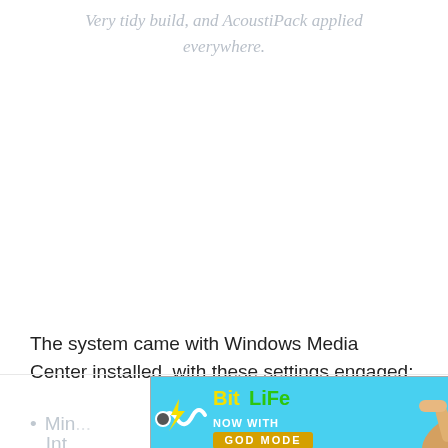Very tidy build, and AcoustiPack applied everywhere.
The system came with Windows Media Center installed, with these settings engaged:
Min... ...nced Int...
[Figure (screenshot): Advertisement banner for BitLife game app with 'Now with GOD MODE' text, help and close buttons, on a cyan/blue background with cartoon hand graphic.]